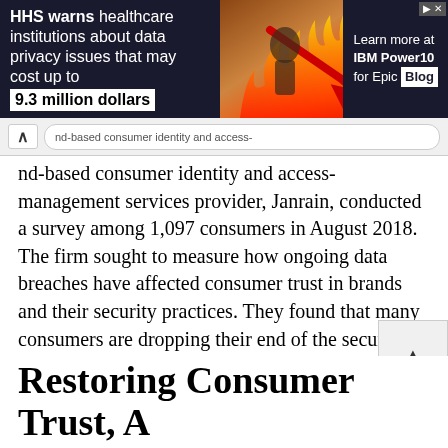[Figure (screenshot): HHS warning banner advertisement: dark background with text on left reading 'HHS warns healthcare institutions about data privacy issues that may cost up to 9.3 million dollars', a flame/financial imagery in the center, and IBM Power10 for Epic Blog advertisement on the right]
nd-based consumer identity and access-management services provider, Janrain, conducted a survey among 1,097 consumers in August 2018. The firm sought to measure how ongoing data breaches have affected consumer trust in brands and their security practices. They found that many consumers are dropping their end of the security bargain. 61 percent of consumers claim to be vigilant about protecting their computer and mobile security, but 38 percent have given up on being careful. And 15 percent of these people have simply given up because they don't have time to manage all the different passwords
Restoring Consumer Trust, A